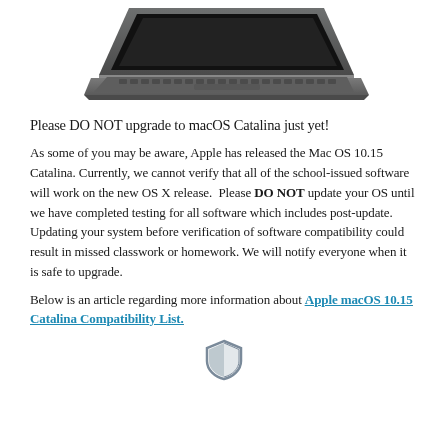[Figure (photo): A MacBook Pro laptop shown from a side-angle perspective, space gray color, with keyboard visible and screen open.]
Please DO NOT upgrade to macOS Catalina just yet!
As some of you may be aware, Apple has released the Mac OS 10.15 Catalina. Currently, we cannot verify that all of the school-issued software will work on the new OS X release.  Please DO NOT update your OS until we have completed testing for all software which includes post-update. Updating your system before verification of software compatibility could result in missed classwork or homework. We will notify everyone when it is safe to upgrade.
Below is an article regarding more information about Apple macOS 10.15 Catalina Compatibility List.
[Figure (logo): A shield/security icon in gray color centered at the bottom of the page.]